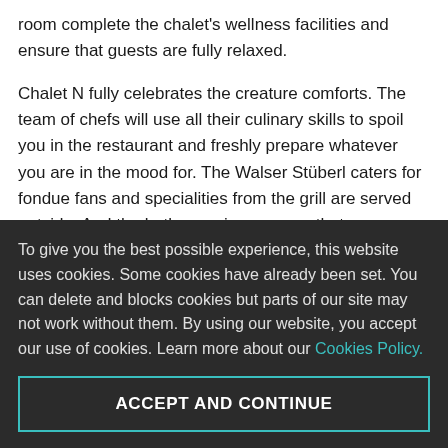room complete the chalet's wellness facilities and ensure that guests are fully relaxed.

Chalet N fully celebrates the creature comforts. The team of chefs will use all their culinary skills to spoil you in the restaurant and freshly prepare whatever you are in the mood for. The Walser Stüberl caters for fondue fans and specialities from the grill are served outside. And the butler service ensures that you can enjoy exactly what you fancy anywhere in the chalet.
To give you the best possible experience, this website uses cookies. Some cookies have already been set. You can delete and blocks cookies but parts of our site may not work without them. By using our website, you accept our use of cookies. Learn more about our Cookies Policy.
ACCEPT AND CONTINUE